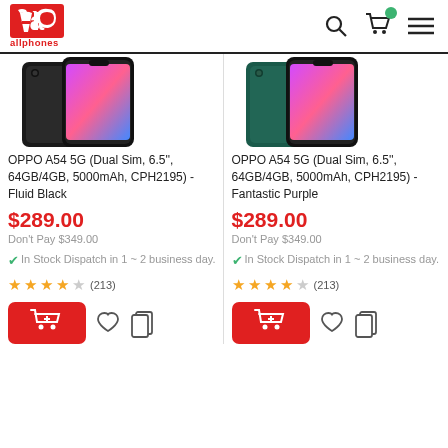allphones
[Figure (photo): OPPO A54 5G smartphone in Fluid Black color showing front and back views]
OPPO A54 5G (Dual Sim, 6.5'', 64GB/4GB, 5000mAh, CPH2195) - Fluid Black
$289.00
Don't Pay $349.00
In Stock Dispatch in 1 ~ 2 business day.
★★★★☆ (213)
[Figure (photo): OPPO A54 5G smartphone in Fantastic Purple color showing front and back views]
OPPO A54 5G (Dual Sim, 6.5'', 64GB/4GB, 5000mAh, CPH2195) - Fantastic Purple
$289.00
Don't Pay $349.00
In Stock Dispatch in 1 ~ 2 business day.
★★★★☆ (213)